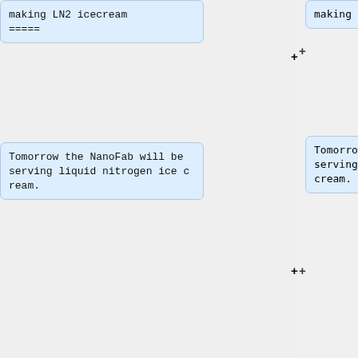making LN2 icecream
=====
Tomorrow the NanoFab will be serving liquid nitrogen ice cream.
// ~~~~
***********
* (end of example)
***********
**
The ~~~~ will be